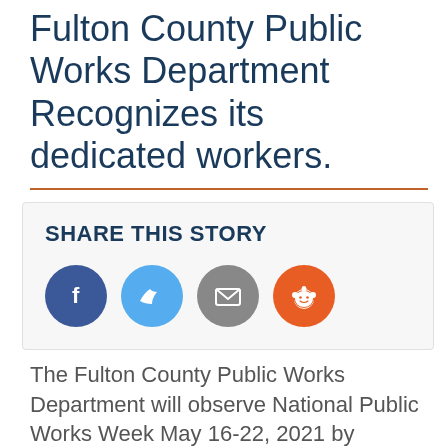Fulton County Public Works Department Recognizes its dedicated workers.
[Figure (infographic): Share This Story social media buttons: Facebook (blue circle with f), Twitter (light blue circle with bird), Email (gray circle with envelope), Reddit (orange circle with alien mascot)]
The Fulton County Public Works Department will observe National Public Works Week May 16-22, 2021 by highlighting its staff and the services